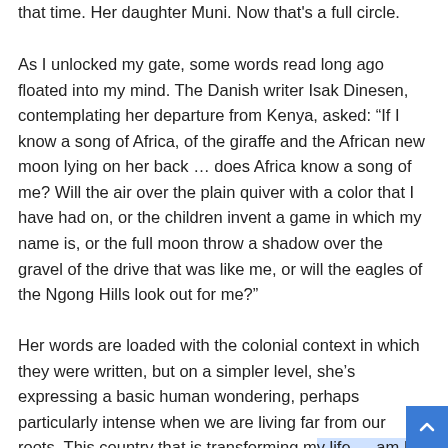that time. Her daughter Muni. Now that's a full circle.
As I unlocked my gate, some words read long ago floated into my mind. The Danish writer Isak Dinesen, contemplating her departure from Kenya, asked: “If I know a song of Africa, of the giraffe and the African new moon lying on her back … does Africa know a song of me? Will the air over the plain quiver with a color that I have had on, or the children invent a game in which my name is, or the full moon throw a shadow over the gravel of the drive that was like me, or will the eagles of the Ngong Hills look out for me?”
Her words are loaded with the colonial context in which they were written, but on a simpler level, she’s expressing a basic human wondering, perhaps particularly intense when we are living far from our roots. This country that is transforming my life — am I making any difference here? When I leave it, in life or in death, will there be any trace of me?